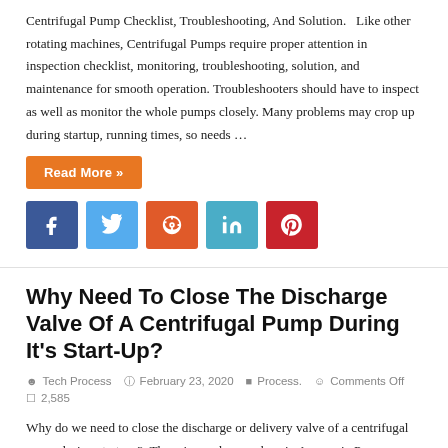Centrifugal Pump Checklist, Troubleshooting, And Solution.   Like other rotating machines, Centrifugal Pumps require proper attention in inspection checklist, monitoring, troubleshooting, solution, and maintenance for smooth operation. Troubleshooters should have to inspect as well as monitor the whole pumps closely. Many problems may crop up during startup, running times, so needs …
Read More »
[Figure (other): Social sharing icons: Facebook (blue), Twitter (light blue), StumbleUpon (orange-red), LinkedIn (teal), Pinterest (red)]
Why Need To Close The Discharge Valve Of A Centrifugal Pump During It's Start-Up?
Tech Process   February 23, 2020   Process.   Comments Off   2,585
Why do we need to close the discharge or delivery valve of a centrifugal pump during start-up?  There is no place such as in Ammonia Process, Basic Process, Chemical Engineering, Chemical Process Technology, Chemical Industries, Lubricant Manufacturing, Manufacturing Industries, Oil and Gas, Petrochemicals, which did not use the centrifugal pump? # Answer(1)  …